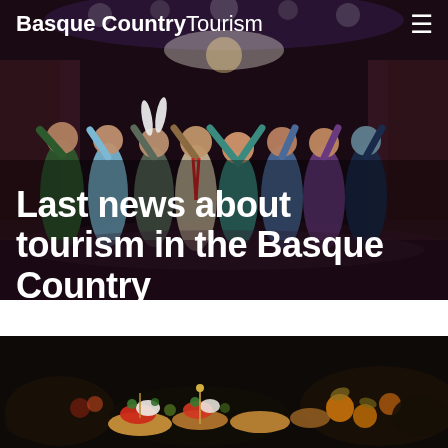Basque Country Tourism
[Figure (photo): Performers on a theatre stage with dramatic lighting and audience in background, all raising their hands]
Last news about tourism in the Basque Country
[Figure (photo): Close-up of colorful pintxos (Basque tapas) food spread on a dark background]